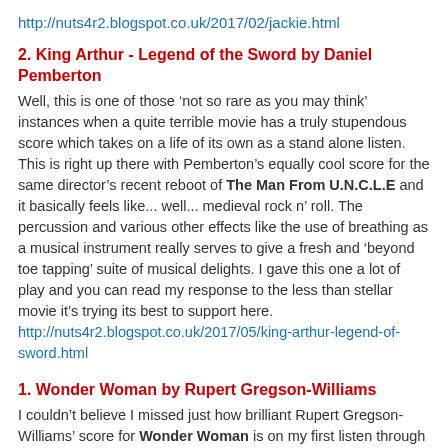http://nuts4r2.blogspot.co.uk/2017/02/jackie.html
2. King Arthur - Legend of the Sword by Daniel Pemberton
Well, this is one of those ‘not so rare as you may think’ instances when a quite terrible movie has a truly stupendous score which takes on a life of its own as a stand alone listen. This is right up there with Pemberton’s equally cool score for the same director’s recent reboot of The Man From U.N.C.L.E and it basically feels like... well... medieval rock n’ roll. The percussion and various other effects like the use of breathing as a musical instrument really serves to give a fresh and ‘beyond toe tapping’ suite of musical delights. I gave this one a lot of play and you can read my response to the less than stellar movie it’s trying its best to support here. http://nuts4r2.blogspot.co.uk/2017/05/king-arthur-legend-of-sword.html
1. Wonder Woman by Rupert Gregson-Williams
I couldn’t believe I missed just how brilliant Rupert Gregson-Williams’ score for Wonder Woman is on my first listen through at the cinema. I sure as hell twigged it when I heard